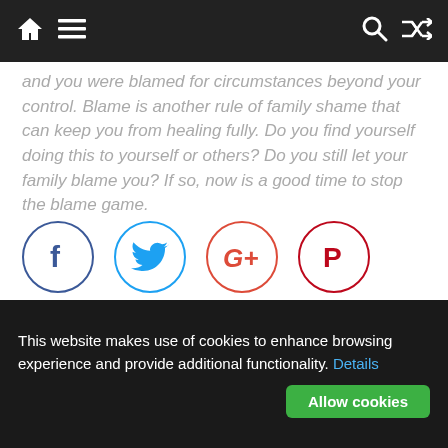Navigation bar with home, menu, search, and shuffle icons
and you were blamed for circumstances beyond your control. Blame is another rule of family shame that can keep you from healing fully. Do you find yourself doing this to yourself or others? Do you still let your family blame you? If so, now is a good time to stop the blame game.

Commit to your own self improvement and healing by breaking the rules of family shame. You'll be glad you did.
Please follow us:
[Figure (infographic): Four social media circle icons: Facebook (blue f), Twitter (blue bird), Google Plus (red G+), Pinterest (red P)]
This website makes use of cookies to enhance browsing experience and provide additional functionality. Details  Allow cookies